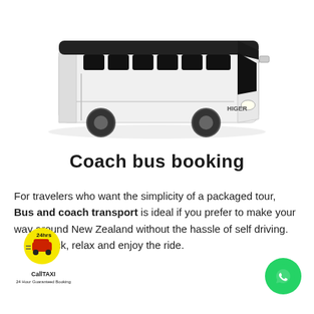[Figure (photo): White and black coach bus (Higer brand) on white background, three-quarter front view]
Coach bus booking
For travelers who want the simplicity of a packaged tour, Bus and coach transport is ideal if you prefer to make your way around New Zealand without the hassle of self driving. Sit back, relax and enjoy the ride.
[Figure (logo): CallTAXI 24hrs logo — yellow circular badge with taxi icon and text CallTAXI underneath]
[Figure (logo): WhatsApp green circular button with phone handset icon]